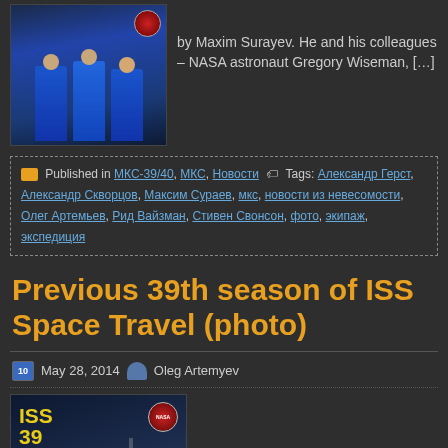[Figure (photo): Group photo of astronauts in blue flight suits]
by Maxim Surayev. He and his colleagues – NASA astronaut Gregory Wiseman, […]
Published in МКС-39/40, МКС, Новости   Tags: Александр Герст, Александр Скворцов, Максим Сураев, мкс, новости из невесомости, Олег Артемьев, Рид Вайзман, Стивен Свонсон, фото, экипаж, экспедиция
Previous 39th season of ISS Space Travel (photo)
May 28, 2014  Oleg Artemyev
[Figure (photo): ISS 39 mission poster showing crew of 6 astronauts in blue flight suits with ISS structure in background, NASA badge top right, ISS 39 label top left in yellow]